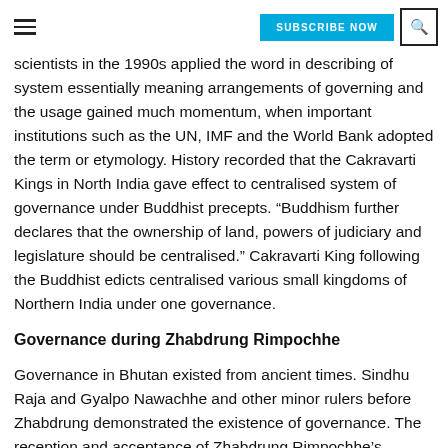SUBSCRIBE NOW
scientists in the 1990s applied the word in describing of system essentially meaning arrangements of governing and the usage gained much momentum, when important institutions such as the UN, IMF and the World Bank adopted the term or etymology. History recorded that the Cakravarti Kings in North India gave effect to centralised system of governance under Buddhist precepts. “Buddhism further declares that the ownership of land, powers of judiciary and legislature should be centralised.” Cakravarti King following the Buddhist edicts centralised various small kingdoms of Northern India under one governance.
Governance during Zhabdrung Rimpochhe
Governance in Bhutan existed from ancient times. Sindhu Raja and Gyalpo Nawachhe and other minor rulers before Zhabdrung demonstrated the existence of governance. The reception and acceptance of Zhabdrung Rimpochhe’s